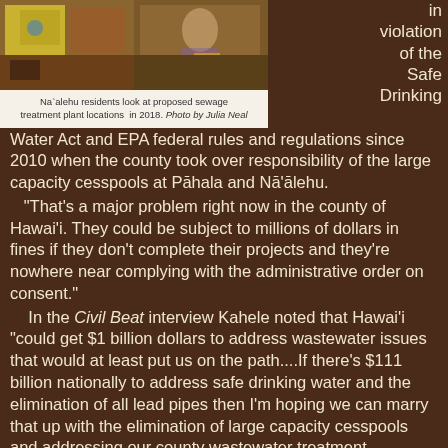[Figure (photo): Two photos showing Na`alehu residents looking at proposed sewage treatment plant locations in 2018, with colorful documents/maps visible]
Na`alehu residents look at proposed sewage treatment plant locations  in 2018. Photo by Julia Neal
in violation of the Safe Drinking Water Act and EPA federal rules and regulations since 2010 when the county took over responsibility of the large capacity cesspools at Pāhala and Nā'ālehu.
"That's a major problem right now in the county of Hawai'i. They could be subject to millions of dollars in fines if they don't complete their projects and they're nowhere near complying with the administrative order on consent."
In the Civil Beat interview Kahele noted that Hawai'i "could get $1 billion dollars to address wastewater issues that would at least put us on the path....If there's $111 billion nationally to address safe drinking water and the elimination of all lead pipes then I'm hoping we can marry that up with the elimination of large capacity cesspools and addressing our county wastewater treatment facilities."
To read comments, add your own, and like this story, see https://www.facebook.com/kaucalendar/ See latest print